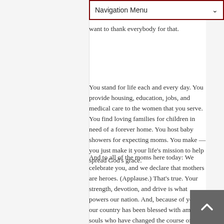Navigation Menu
want to thank everybody for that.
You stand for life each and every day. You provide housing, education, jobs, and medical care to the women that you serve. You find loving families for children in need of a forever home. You host baby showers for expecting moms. You make — you just make it your life’s mission to help spread God’s grace.
And to all of the moms here today: We celebrate you, and we declare that mothers are heroes. (Applause.) That’s true. Your strength, devotion, and drive is what powers our nation. And, because of you, our country has been blessed with amazing souls who have changed the course of human history.